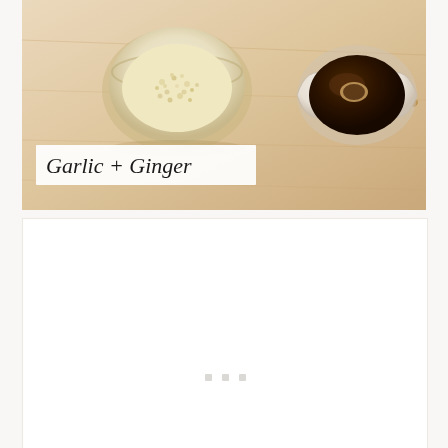[Figure (photo): Overhead photo on a light wood surface showing a small round bowl with minced/powdered garlic or ginger on the left, and a white ruffled dish containing dark soy sauce with a wooden spoon on the right. A white label overlay in italic serif font reads 'Garlic + Ginger'.]
Garlic + Ginger